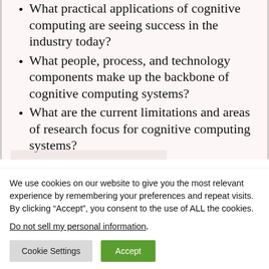What practical applications of cognitive computing are seeing success in the industry today?
What people, process, and technology components make up the backbone of cognitive computing systems?
What are the current limitations and areas of research focus for cognitive computing systems?
Speakers:
We use cookies on our website to give you the most relevant experience by remembering your preferences and repeat visits. By clicking “Accept”, you consent to the use of ALL the cookies.
Do not sell my personal information.